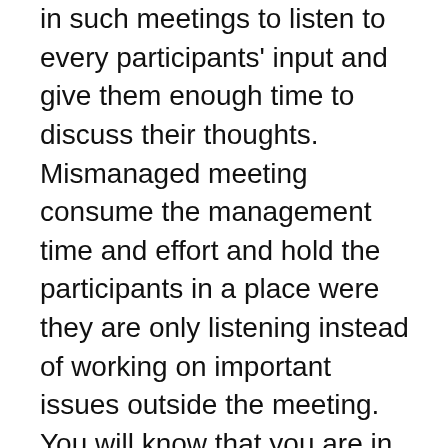in such meetings to listen to every participants' input and give them enough time to discuss their thoughts. Mismanaged meeting consume the management time and effort and hold the participants in a place were they are only listening instead of working on important issues outside the meeting. You will know that you are in a mismanaged meeting when the participates have side talks and others are frequently checking their iPhones and Blackberries instead of participating in the meeting. You will know that you have been in a good meeting when everybody leave the room knowing enough about the subject to describe it to anybody who ask them about it later. The participants in a good meeting will leave the meeting with a set of actions to take with a specific outcome on a target date. They know whom they should contact for clarifications and to whom they should report their progress. This post is an introduction to a series of